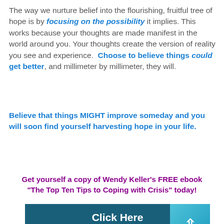The way we nurture belief into the flourishing, fruitful tree of hope is by focusing on the possibility it implies. This works because your thoughts are made manifest in the world around you. Your thoughts create the version of reality you see and experience. Choose to believe things could get better, and millimeter by millimeter, they will.
Believe that things MIGHT improve someday and you will soon find yourself harvesting hope in your life.
Get yourself a copy of Wendy Keller's FREE ebook "The Top Ten Tips to Coping with Crisis" today!
[Figure (infographic): Dark teal button with white bold text reading 'Click Here To Get Your Free Ebook' with a cyan gradient arrow panel on the right containing an upward chevron icon]